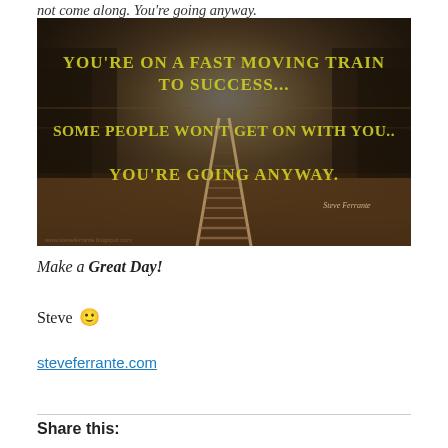not come along. You're going anyway.
[Figure (photo): Motivational image with train tracks receding into a bright light in a forest, with yellow text overlay: YOU'RE ON A FAST MOVING TRAIN TO SUCCESS... SOME PEOPLE WON'T GET ON WITH YOU.. YOU'RE GOING ANYWAY. — Steve Ferrante]
Make a Great Day!
Steve 🙂
steveferrante.com
Share this: